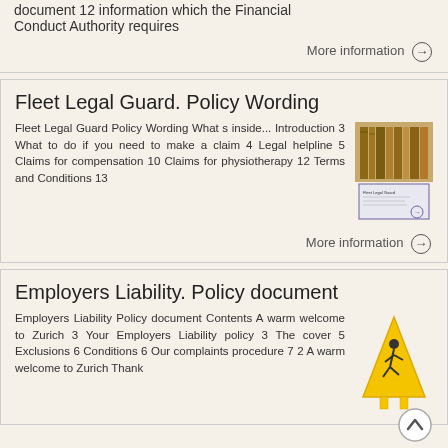document 12 information which the Financial Conduct Authority requires
More information →
Fleet Legal Guard. Policy Wording
Fleet Legal Guard Policy Wording What s inside... Introduction 3 What to do if you need to make a claim 4 Legal helpline 5 Claims for compensation 10 Claims for physiotherapy 12 Terms and Conditions 13
[Figure (photo): Image of Fleet Legal Guard policy document booklet with law books in background]
More information →
Employers Liability. Policy document
Employers Liability Policy document Contents A warm welcome to Zurich 3 Your Employers Liability policy 3 The cover 5 Exclusions 6 Conditions 6 Our complaints procedure 7 2 A warm welcome to Zurich Thank
[Figure (photo): Yellow wet floor caution sign]